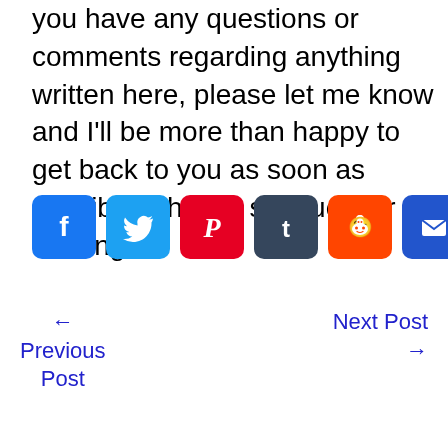you have any questions or comments regarding anything written here, please let me know and I'll be more than happy to get back to you as soon as possible. Thanks so much for reading!
[Figure (infographic): Social share icons: Facebook (blue), Twitter (light blue), Pinterest (red), Tumblr (dark gray), Reddit (orange), Email (blue), More/Plus (blue)]
← Previous Post   Next Post →